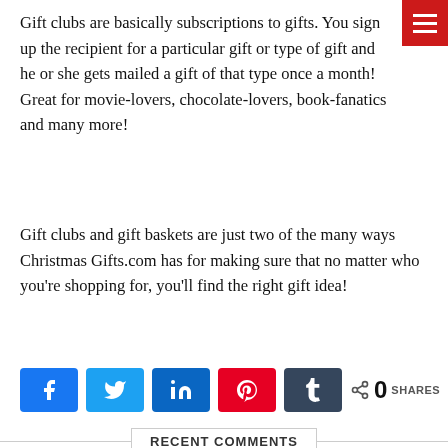[Figure (other): Red hamburger menu button in top-right corner with three white horizontal lines]
Gift clubs are basically subscriptions to gifts. You sign up the recipient for a particular gift or type of gift and he or she gets mailed a gift of that type once a month! Great for movie-lovers, chocolate-lovers, book-fanatics and many more!
Gift clubs and gift baskets are just two of the many ways Christmas Gifts.com has for making sure that no matter who you're shopping for, you'll find the right gift idea!
[Figure (infographic): Social share buttons row: Facebook (blue k icon), Twitter (blue bird icon), LinkedIn (dark blue 'in'), Pinterest (red 'p'), Tumblr (dark 't'), and share count showing 0 SHARES]
RECENT COMMENTS
[Figure (other): Comment avatar placeholder box (empty white square with border)]